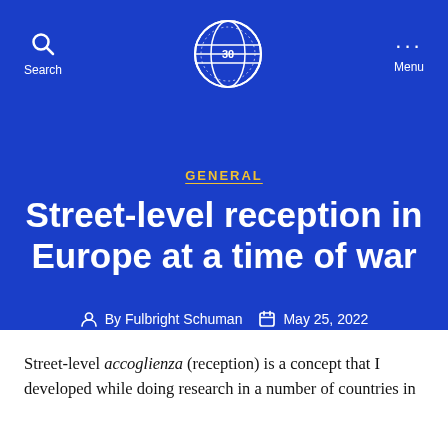Search | Fulbright Schuman Program 30th Anniversary | Menu
GENERAL
Street-level reception in Europe at a time of war
By Fulbright Schuman   May 25, 2022
Street-level accoglienza (reception) is a concept that I developed while doing research in a number of countries in